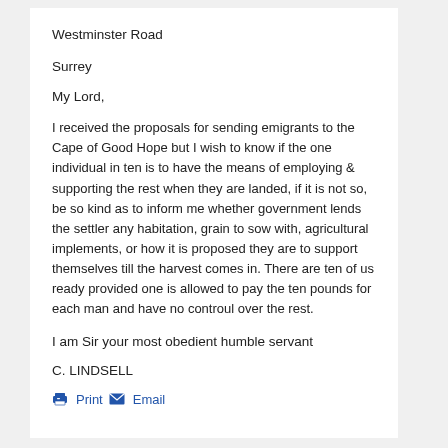Westminster Road
Surrey
My Lord,
I received the proposals for sending emigrants to the Cape of Good Hope but I wish to know if the one individual in ten is to have the means of employing & supporting the rest when they are landed, if it is not so, be so kind as to inform me whether government lends the settler any habitation, grain to sow with, agricultural implements, or how it is proposed they are to support themselves till the harvest comes in. There are ten of us ready provided one is allowed to pay the ten pounds for each man and have no controul over the rest.
I am Sir your most obedient humble servant
C. LINDSELL
Print  Email